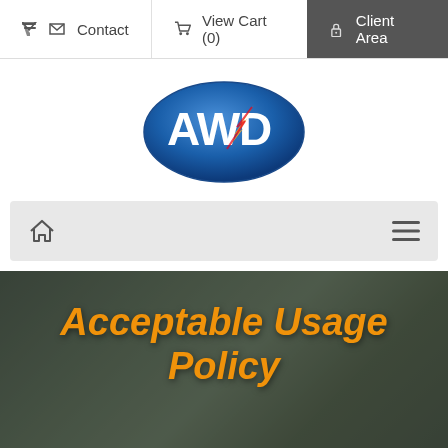Contact  View Cart (0)  Client Area
[Figure (logo): AWD logo — blue oval with white letters AWD and orange/yellow lightning bolt]
[Figure (infographic): Navigation menu bar with home icon on left and hamburger menu icon on right, light grey background]
Acceptable Usage Policy
Portal Home > Acceptable Usage Policy